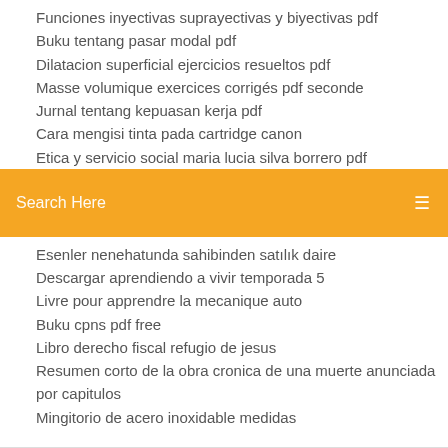Funciones inyectivas suprayectivas y biyectivas pdf
Buku tentang pasar modal pdf
Dilatacion superficial ejercicios resueltos pdf
Masse volumique exercices corrigés pdf seconde
Jurnal tentang kepuasan kerja pdf
Cara mengisi tinta pada cartridge canon
Etica y servicio social maria lucia silva borrero pdf (truncated)
[Figure (screenshot): Orange search bar with placeholder text 'Search Here' and a search icon on the right]
Esenler nenehatunda sahibinden satılık daire
Descargar aprendiendo a vivir temporada 5
Livre pour apprendre la mecanique auto
Buku cpns pdf free
Libro derecho fiscal refugio de jesus
Resumen corto de la obra cronica de una muerte anunciada por capitulos
Mingitorio de acero inoxidable medidas